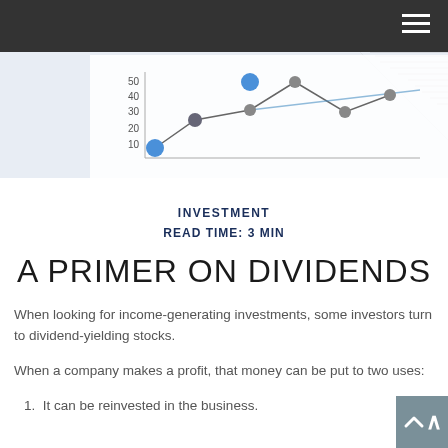[Figure (illustration): Cropped scatter/line chart image showing plotted points in blue and dark gray connected by lines, with y-axis labels (10, 20, 30, 40, 50) visible, partially overlaid by a dark header bar and a corner of a notebook/grid in the upper right.]
INVESTMENT
READ TIME: 3 MIN
A PRIMER ON DIVIDENDS
When looking for income-generating investments, some investors turn to dividend-yielding stocks.
When a company makes a profit, that money can be put to two uses:
1.  It can be reinvested in the business.